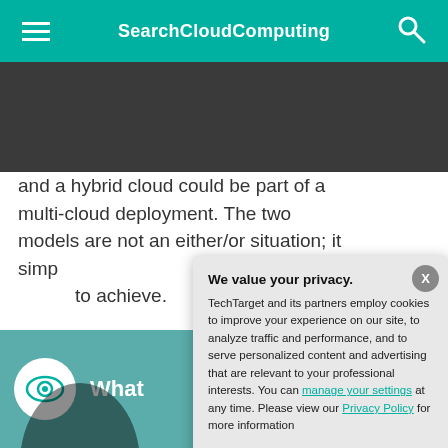SearchCloudComputing
and a hybrid cloud could be part of a multi-cloud deployment. The two models are not an either/or situation; it simply depends on what a business hopes to achieve.
[Figure (screenshot): Partial image showing an eye icon circle and the word 'What' with a person in the foreground on a teal background]
We value your privacy. TechTarget and its partners employ cookies to improve your experience on our site, to analyze traffic and performance, and to serve personalized content and advertising that are relevant to your professional interests. You can manage your settings at any time. Please view our Privacy Policy for more information